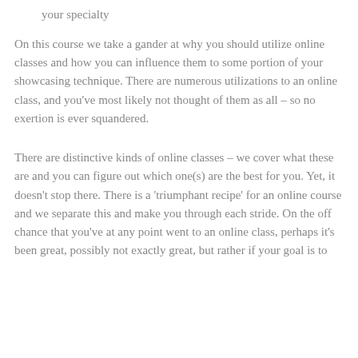your specialty
On this course we take a gander at why you should utilize online classes and how you can influence them to some portion of your showcasing technique. There are numerous utilizations to an online class, and you've most likely not thought of them as all – so no exertion is ever squandered.
There are distinctive kinds of online classes – we cover what these are and you can figure out which one(s) are the best for you. Yet, it doesn't stop there. There is a 'triumphant recipe' for an online course and we separate this and make you through each stride. On the off chance that you've at any point went to an online class, perhaps it's been great, possibly not exactly great, but rather if your goal is to